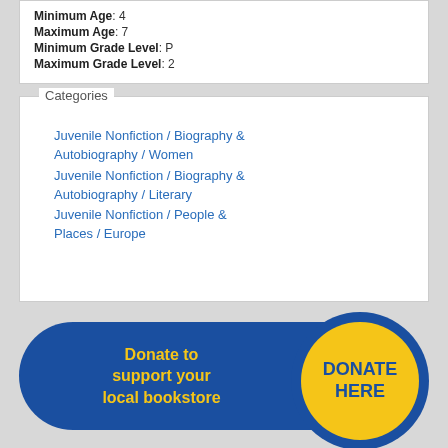Minimum Age: 4
Maximum Age: 7
Minimum Grade Level: P
Maximum Grade Level: 2
Categories
Juvenile Nonfiction / Biography & Autobiography / Women
Juvenile Nonfiction / Biography & Autobiography / Literary
Juvenile Nonfiction / People & Places / Europe
[Figure (infographic): Donate to support your local bookstore / DONATE HERE button banner with blue rounded rectangle and yellow circle]